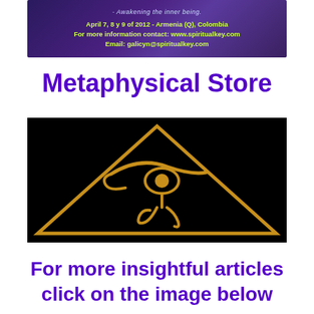[Figure (illustration): Purple/indigo banner with mystical background. Text: '- Awakening the inner being.' in italic, then 'April 7, 8 y 9 of 2012 - Armenia (Q), Colombia', 'For more information contact: www.spiritualkey.com', 'Email: galicyn@spiritualkey.com' in yellow-green bold text.]
Metaphysical Store
[Figure (illustration): Black background with a golden Egyptian pyramid outline and the Eye of Horus symbol in gold in the center.]
For more insightful articles click on the image below